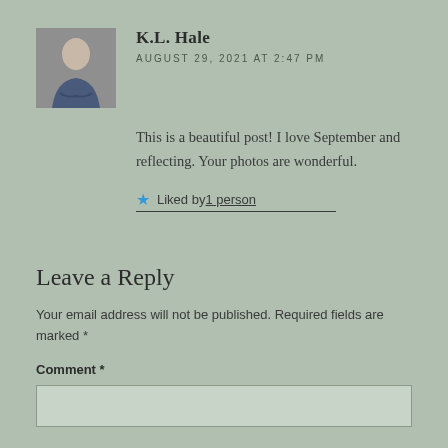[Figure (photo): Avatar photo of K.L. Hale, a person sitting outdoors in a urban setting]
K.L. Hale
AUGUST 29, 2021 AT 2:47 PM
This is a beautiful post! I love September and reflecting. Your photos are wonderful.
Liked by 1 person
Leave a Reply
Your email address will not be published. Required fields are marked *
Comment *